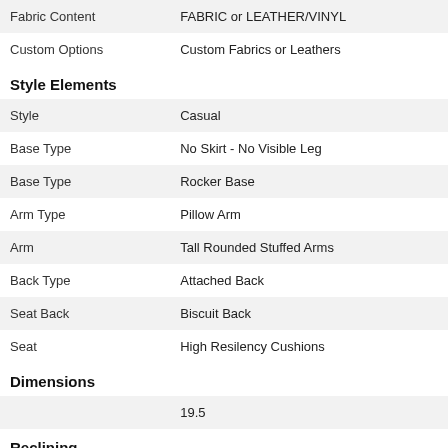| Fabric Content | FABRIC or LEATHER/VINYL |
| Custom Options | Custom Fabrics or Leathers |
Style Elements
| Style | Casual |
| Base Type | No Skirt - No Visible Leg |
| Base Type | Rocker Base |
| Arm Type | Pillow Arm |
| Arm | Tall Rounded Stuffed Arms |
| Back Type | Attached Back |
| Seat Back | Biscuit Back |
| Seat | High Resilency Cushions |
Dimensions
|  | 19.5 |
Reclining
| Reclining Balance | Exterior Handle |